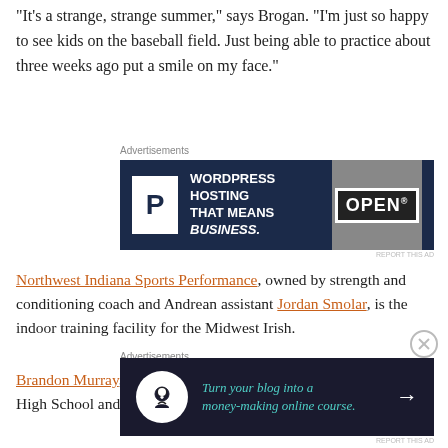“It’s a strange, strange summer,” says Brogan. “I’m just so happy to see kids on the baseball field. Just being able to practice about three weeks ago put a smile on my face.”
[Figure (other): WordPress Hosting advertisement banner: dark navy background with P logo and text 'WORDPRESS HOSTING THAT MEANS BUSINESS.' alongside an OPEN sign photo]
Northwest Indiana Sports Performance, owned by strength and conditioning coach and Andrean assistant Jordan Smolar, is the indoor training facility for the Midwest Irish.
Brandon Murray, who played for the Irish and at Hobart (Ind.) High School and the University of South Carolina, is a
[Figure (other): Advertisement: dark background with icon and teal italic text 'Turn your blog into a money-making online course.' with arrow]